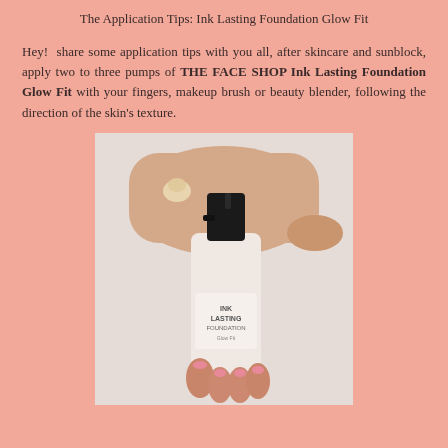The Application Tips: Ink Lasting Foundation Glow Fit
Hey! share some application tips with you all, after skincare and sunblock, apply two to three pumps of THE FACE SHOP Ink Lasting Foundation Glow Fit with your fingers, makeup brush or beauty blender, following the direction of the skin’s texture.
[Figure (photo): A hand being held over a foundation bottle (THE FACE SHOP Ink Lasting Foundation Glow Fit), with a pump of beige foundation product dispensed on the back of the wrist. The bottle is cream-colored with a black pump cap and label reading INK LASTING FOUNDATION.]